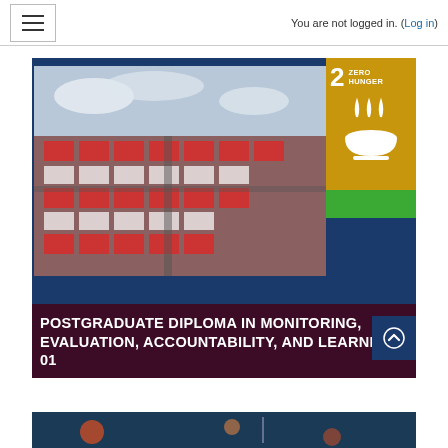You are not logged in. (Log in)
[Figure (screenshot): Website screenshot showing a postgraduate diploma course card with an aerial photo of red-roofed buildings/housing complex, overlaid with the SDG 2 Zero Hunger badge (gold background with bowl/steam icon), a green bar accent, and text overlay reading 'POSTGRADUATE DIPLOMA IN MONITORING, EVALUATION, ACCOUNTABILITY, AND LEARNING-']
POSTGRADUATE DIPLOMA IN MONITORING, EVALUATION, ACCOUNTABILITY, AND LEARNING-